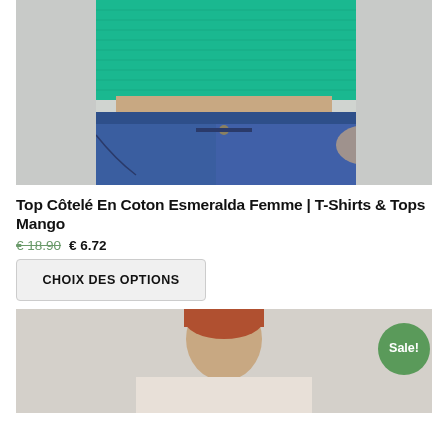[Figure (photo): Woman wearing a teal/green ribbed crop top and blue denim jeans, hand on hip, cropped at waist level, against a light gray background.]
Top Côtelé En Coton Esmeralda Femme | T-Shirts & Tops Mango
€ 18.90 € 6.72
CHOIX DES OPTIONS
[Figure (photo): Woman with red/auburn hair, upper body visible, against a light gray background. A green 'Sale!' badge is in the lower-right area of the image.]